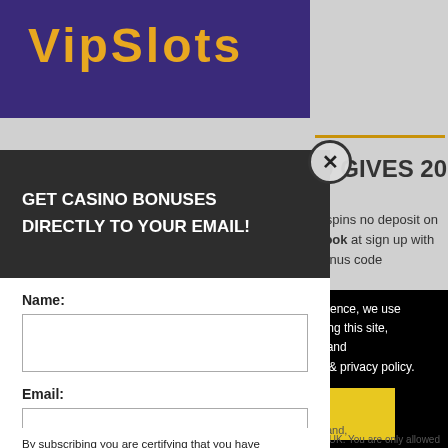[Figure (screenshot): VIPSlots casino logo on dark purple background with gold text]
O GIVES 20 FREE
e spins no deposit on Book at sign up with bonus code
berience, we use Using this site, kie & privacy policy.
inland,
alid for UK. You are only allowed to years old or of legal age as determined by
GET CASINO BONUSES DIRECTLY TO YOUR EMAIL!
Name:
Email:
Submit
By subscribing you are certifying that you have reviewed and accepted our updated Privacy and Cookie policy.